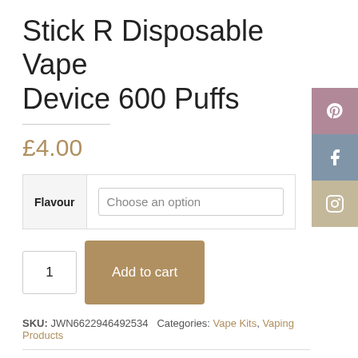Stick R Disposable Vape Device 600 Puffs
£4.00
| Flavour |  |
| --- | --- |
| Flavour | Choose an option |
1  Add to cart
SKU: JWN6622946492534  Categories: Vape Kits, Vaping Products
Share  f  y  in  P
Description
Additional information